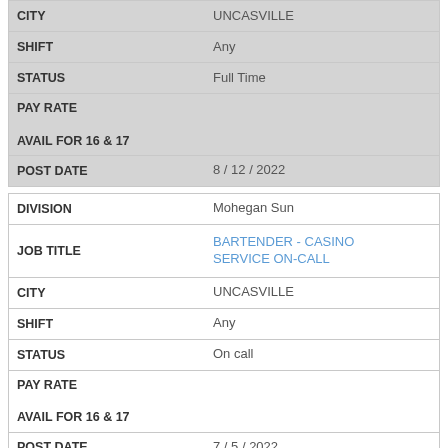| Field | Value |
| --- | --- |
| CITY | UNCASVILLE |
| SHIFT | Any |
| STATUS | Full Time |
| PAY RATE AVAIL FOR 16 & 17 |  |
| POST DATE | 8 / 12 / 2022 |
| Field | Value |
| --- | --- |
| DIVISION | Mohegan Sun |
| JOB TITLE | BARTENDER - CASINO SERVICE ON-CALL |
| CITY | UNCASVILLE |
| SHIFT | Any |
| STATUS | On call |
| PAY RATE AVAIL FOR 16 & 17 |  |
| POST DATE | 7 / 5 / 2022 |
| Field | Value |
| --- | --- |
| DIVISION | Mohegan Sun |